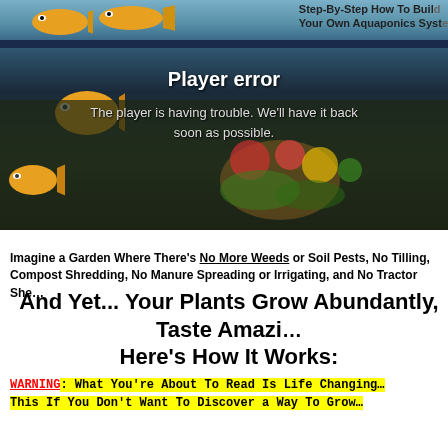[Figure (screenshot): Video player banner showing aquaponics system promotional image with goldfish and vegetables. Player error message displayed: 'Player error - The player is having trouble. We'll have it back soon as possible.' Top banner reads 'Step-By-Step How To Build Your Own Aquaponics System']
Imagine a Garden Where There's No More Weeds or Soil Pests, No Tilling, Compost Shredding, No Manure Spreading or Irrigating, and No Tractor She...
And Yet... Your Plants Grow Abundantly, Taste Amazingly, Here's How It Works:
WARNING: What You're About To Read Is Life Changing... This If You Don't Want To Discover a Way To Grow...